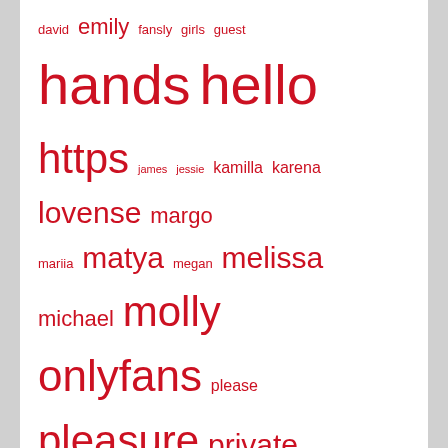[Figure (infographic): Tag cloud of words in red, varying font sizes: david, emily, fansly, girls, guest, hands, hello, https, james, jessie, kamilla, karena, lovense, margo, mariia, matya, megan, melissa, michael, molly, onlyfans, please, pleasure, private, redhead, sarah, short, sofia, sophie, tiana, vibrations, welcome, world]
Meet Up In Your Area
[Figure (infographic): AdultFriendFinder advertisement banner with text 'Find a New Fuck Toy Near Ashburn!', a red 'Join for Free!' button, and a map graphic showing US 15 road sign]